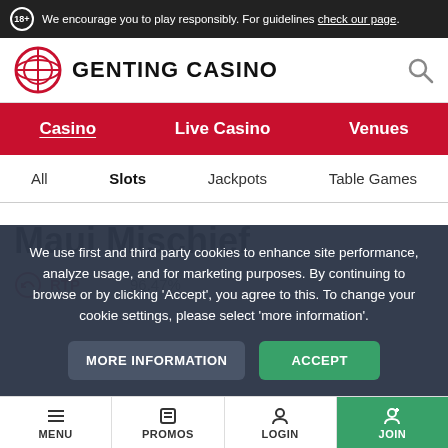18+ We encourage you to play responsibly. For guidelines check our page.
GENTING CASINO
Casino  Live Casino  Venues
All  Slots  Jackpots  Table Games
Maui Mischief
RTP  96.47%
We use first and third party cookies to enhance site performance, analyze usage, and for marketing purposes. By continuing to browse or by clicking 'Accept', you agree to this. To change your cookie settings, please select 'more information'.
MORE INFORMATION   ACCEPT
MENU  PROMOS  LOGIN  JOIN